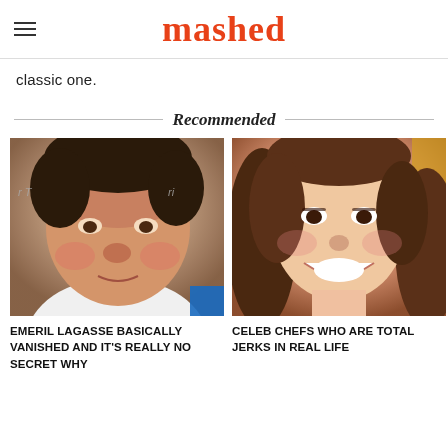mashed
classic one.
Recommended
[Figure (photo): Headshot of Emeril Lagasse at an event, wearing a white jacket, in front of a branded backdrop.]
[Figure (photo): Headshot of a smiling woman with long brown hair, wearing makeup, at a media event.]
EMERIL LAGASSE BASICALLY VANISHED AND IT'S REALLY NO SECRET WHY
CELEB CHEFS WHO ARE TOTAL JERKS IN REAL LIFE